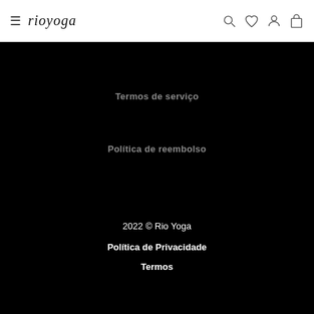rio yoga — navigation header with hamburger menu, logo, search, wishlist, account, and cart icons
Termos de serviço
Política de reembolso
2022 © Rio Yoga
Política de Privacidade
Termos